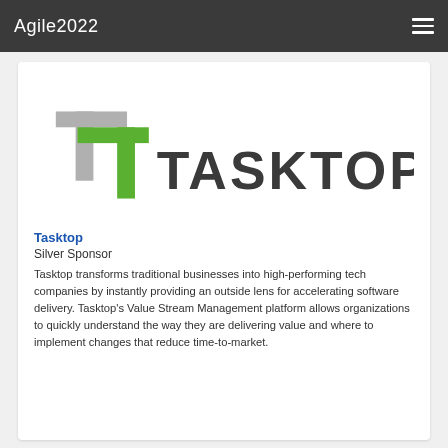Agile2022
[Figure (logo): Tasktop logo: stylized double-T mark in gray and green, followed by TASKTOP wordmark in dark gray]
Tasktop
Silver Sponsor
Tasktop transforms traditional businesses into high-performing tech companies by instantly providing an outside lens for accelerating software delivery. Tasktop's Value Stream Management platform allows organizations to quickly understand the way they are delivering value and where to implement changes that reduce time-to-market.